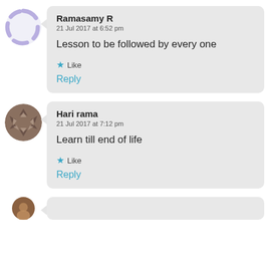[Figure (illustration): Purple dashed circle avatar for user Ramasamy R]
Ramasamy R
21 Jul 2017 at 6:52 pm

Lesson to be followed by every one

★ Like

Reply
[Figure (illustration): Brown/grey patterned circle avatar for user Hari rama]
Hari rama
21 Jul 2017 at 7:12 pm

Learn till end of life

★ Like

Reply
[Figure (illustration): Partially visible brown avatar at bottom of page]